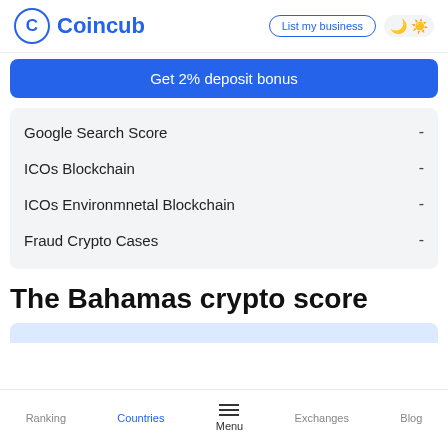Coincub — List my business
[Figure (screenshot): Coincub logo with C in circle and navigation buttons including 'List my business' and dark/light mode toggle]
Get 2% deposit bonus
| Metric | Value |
| --- | --- |
| Google Search Score | - |
| ICOs Blockchain | - |
| ICOs Environmnetal Blockchain | - |
| Fraud Crypto Cases | - |
The Bahamas crypto score
Ranking  Countries  Menu  Exchanges  Blog